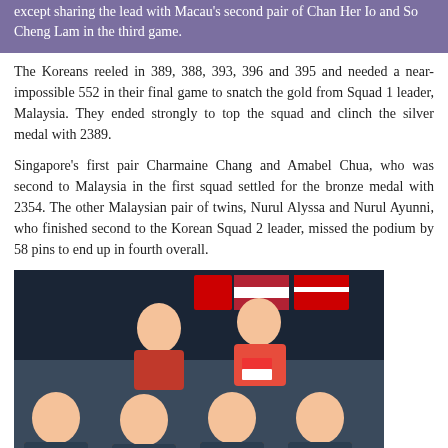except sharing the lead with Macau's second pair of Chan Her Io and So Cheng Lam in the third game.
The Koreans reeled in 389, 388, 393, 396 and 395 and needed a near-impossible 552 in their final game to snatch the gold from Squad 1 leader, Malaysia. They ended strongly to top the squad and clinch the silver medal with 2389.
Singapore's first pair Charmaine Chang and Amabel Chua, who was second to Malaysia in the first squad settled for the bronze medal with 2354. The other Malaysian pair of twins, Nurul Alyssa and Nurul Ayunni, who finished second to the Korean Squad 2 leader, missed the podium by 58 pins to end up in fourth overall.
[Figure (photo): Group photo of bowling doubles medallists: Malaysia 1 (gold), Singapore 1 (silver), and Malaysia 2 (bronze), posing with medals in a bowling venue.]
Doubles medallists, Malaysia 1, Singapore 1 and Malaysia 2
Ong's 1449 effort in the Doubles event has propelled him into the